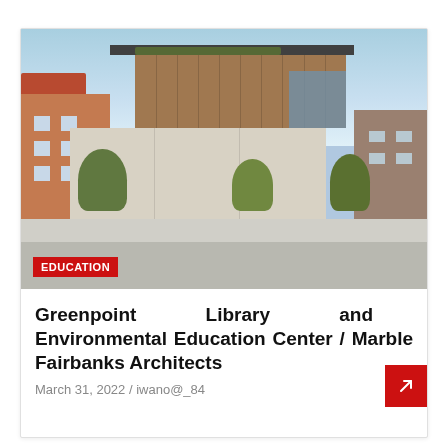[Figure (photo): Exterior photograph of the Greenpoint Library and Environmental Education Center building on a sunny day. The modern building features wood slat cladding and glass sections, flanked by brick buildings on either side, with trees in front and pedestrians on the sidewalk. A red 'EDUCATION' badge overlays the lower left of the photo.]
Greenpoint Library and Environmental Education Center / Marble Fairbanks Architects
March 31, 2022 / iwano@_84